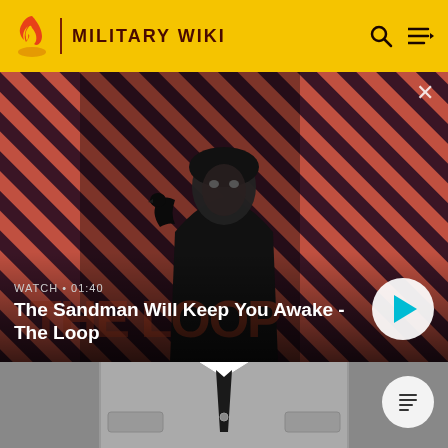MILITARY WIKI
[Figure (screenshot): Video thumbnail for 'The Sandman Will Keep You Awake - The Loop' showing a dark-clad figure with a raven on a red and black striped background. Duration shown: 01:40. Play button visible.]
WATCH • 01:40
The Sandman Will Keep You Awake - The Loop
[Figure (illustration): Black and white illustration of a man in a suit and tie, headless/cropped, wearing a grey coat with pockets.]